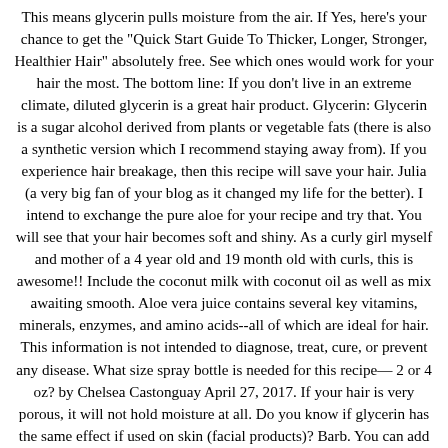This means glycerin pulls moisture from the air. If Yes, here's your chance to get the "Quick Start Guide To Thicker, Longer, Stronger, Healthier Hair" absolutely free. See which ones would work for your hair the most. The bottom line: If you don't live in an extreme climate, diluted glycerin is a great hair product. Glycerin: Glycerin is a sugar alcohol derived from plants or vegetable fats (there is also a synthetic version which I recommend staying away from). If you experience hair breakage, then this recipe will save your hair. Julia (a very big fan of your blog as it changed my life for the better). I intend to exchange the pure aloe for your recipe and try that. You will see that your hair becomes soft and shiny. As a curly girl myself and mother of a 4 year old and 19 month old with curls, this is awesome!! Include the coconut milk with coconut oil as well as mix awaiting smooth. Aloe vera juice contains several key vitamins, minerals, enzymes, and amino acids--all of which are ideal for hair. This information is not intended to diagnose, treat, cure, or prevent any disease. What size spray bottle is needed for this recipe— 2 or 4 oz? by Chelsea Castonguay April 27, 2017. If your hair is very porous, it will not hold moisture at all. Do you know if glycerin has the same effect if used on skin (facial products)? Barb. You can add the vitamin e oil with the lavender, so just omit the lavender all together. Can i use rosewater instead of distilled water? Is the spray handy to travel with it ? Not only can bananas work their magic on your feet, but they are awesome for your hair! Where can I find these? As your very knowledgable